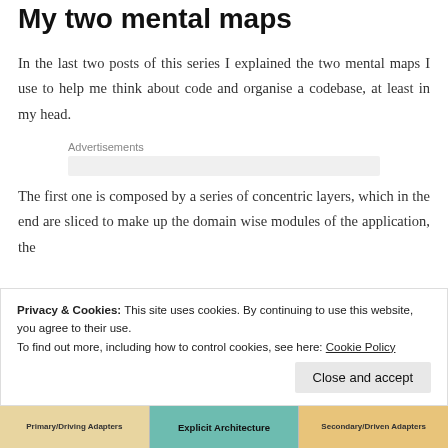My two mental maps
In the last two posts of this series I explained the two mental maps I use to help me think about code and organise a codebase, at least in my head.
Advertisements
The first one is composed by a series of concentric layers, which in the end are sliced to make up the domain wise modules of the application, the
Privacy & Cookies: This site uses cookies. By continuing to use this website, you agree to their use.
To find out more, including how to control cookies, see here: Cookie Policy
[Figure (illustration): Bottom strip showing three panels: Primary/Driving Adapters (tan/beige), Explicit Architecture (teal/green center), Secondary/Driven Adapters (orange/tan right)]